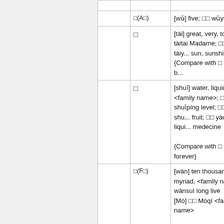|  | Character/Reading | Definition |
| --- | --- | --- |
|  | □(A□) | [wǔ] five; □□ wǔyuè M... |
|  | □ | [tài] great, very, too; □ tàitai Madame; □□ tàiy... sun, sunshine
{Compare with □ dà b... |
|  | □ | [shuǐ] water, liquid, <family name>; □□ shuǐpíng level; □□ shu... fruit; □□ yàoshuǐ liqui... medecine
{Compare with □ yǒn... forever} |
|  | □(F□) | [wàn] ten thousand, myriad, <family name> wànsuì long live
[Mò] □□ Mòqí <family name>
{Compare with □ fāng... square} |